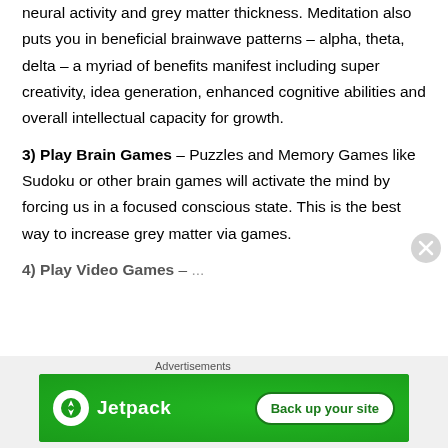neural activity and grey matter thickness. Meditation also puts you in beneficial brainwave patterns – alpha, theta, delta – a myriad of benefits manifest including super creativity, idea generation, enhanced cognitive abilities and overall intellectual capacity for growth.
3) Play Brain Games – Puzzles and Memory Games like Sudoku or other brain games will activate the mind by forcing us in a focused conscious state. This is the best way to increase grey matter via games.
4) Play Video Games – (partial, cut off)
[Figure (other): Jetpack advertisement banner with green background showing Jetpack logo and 'Back up your site' button]